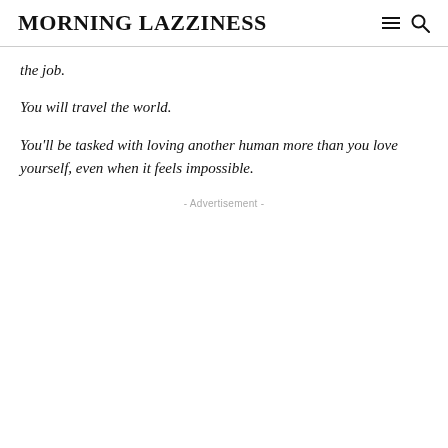MORNING LAZZINESS
the job.
You will travel the world.
You'll be tasked with loving another human more than you love yourself, even when it feels impossible.
- Advertisement -